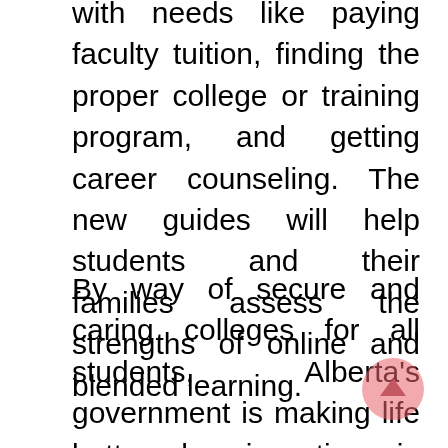with needs like paying faculty tuition, finding the proper college or training program, and getting career counseling. The new guides will help students and their families assess the strengths of online and blended learning.
By way of secure and caring colleges for all students, Alberta's government is making life better by investing in education – one of the necessary investments we are able to make in our future. Every father or mother tells their children from childhood in regards to the importance of education in the life and all the benefits of education to